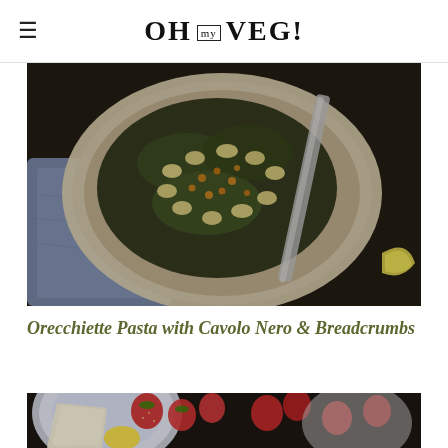OH my VEG!
[Figure (photo): Overhead shot of orecchiette pasta bowl with cavolo nero and golden breadcrumbs, blue linen cloth to the left, fork, and lemon wedge on a dark stone surface]
Orecchiette Pasta with Cavolo Nero & Breadcrumbs
[Figure (photo): Close-up of a dessert plate with strawberries and fruit on a patterned plate, partial view]